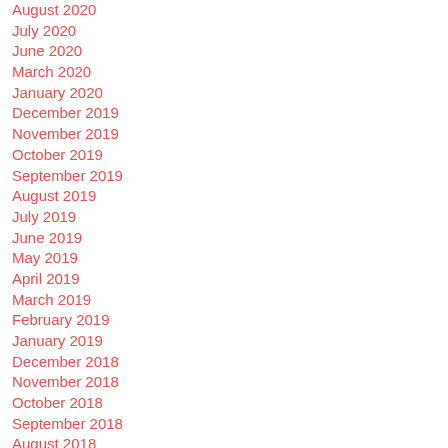August 2020
July 2020
June 2020
March 2020
January 2020
December 2019
November 2019
October 2019
September 2019
August 2019
July 2019
June 2019
May 2019
April 2019
March 2019
February 2019
January 2019
December 2018
November 2018
October 2018
September 2018
August 2018